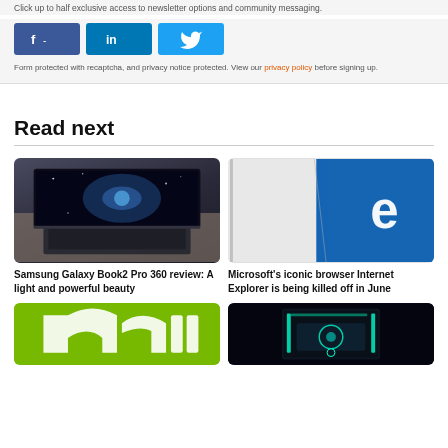Click up to half exclusive access to newsletter options and community messaging.
[Figure (other): Social media share buttons: Facebook (f), LinkedIn (in), Twitter bird icon]
Form protected with recaptcha, and privacy notice protected. View our privacy policy before signing up.
Read next
[Figure (photo): Samsung Galaxy Book2 Pro 360 laptop open on a table, showing a galaxy/space wallpaper on the screen]
Samsung Galaxy Book2 Pro 360 review: A light and powerful beauty
[Figure (photo): Microsoft Edge browser logo on a white and blue background, shown on a surface/tablet device]
Microsoft's iconic browser Internet Explorer is being killed off in June
[Figure (logo): NVIDIA green logo on white background]
[Figure (photo): PC gaming build with cyan/teal lighting inside a black case]